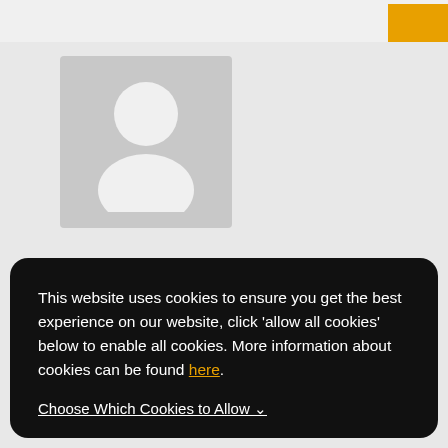[Figure (screenshot): Website screenshot showing a user avatar placeholder (grey silhouette icon) and a cookie consent banner overlay with buttons.]
This website uses cookies to ensure you get the best experience on our website, click 'allow all cookies' below to enable all cookies. More information about cookies can be found here.
Choose Which Cookies to Allow ∨
ALLOW ALL COOKIES
REJECT